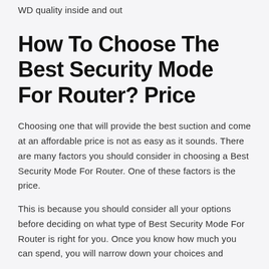WD quality inside and out
How To Choose The Best Security Mode For Router? Price
Choosing one that will provide the best suction and come at an affordable price is not as easy as it sounds. There are many factors you should consider in choosing a Best Security Mode For Router. One of these factors is the price.
This is because you should consider all your options before deciding on what type of Best Security Mode For Router is right for you. Once you know how much you can spend, you will narrow down your choices and